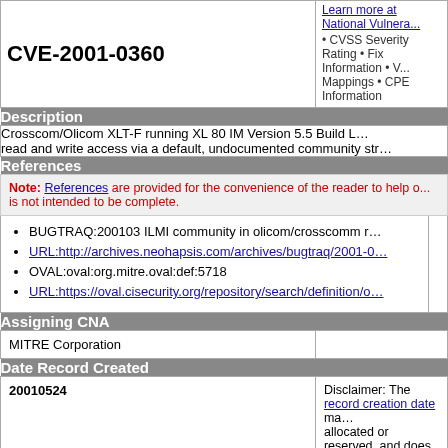| CVE-2001-0360 | Learn more at National Vulnerab... • CVSS Severity Rating • Fix Information • V... Mappings • CPE Information |
Description
Crosscom/Olicom XLT-F running XL 80 IM Version 5.5 Build L... read and write access via a default, undocumented community str...
References
Note: References are provided for the convenience of the reader to help o... is not intended to be complete.
BUGTRAQ:200103 ILMI community in olicom/crosscomm r...
URL:http://archives.neohapsis.com/archives/bugtraq/2001-0...
OVAL:oval:org.mitre.oval:def:5718
URL:https://oval.cisecurity.org/repository/search/definition/o...
Assigning CNA
MITRE Corporation
Date Record Created
20010524
Disclaimer: The record creation date ma... allocated or reserved, and does not nec... was discovered, shared with the affecte... updated in CVE.